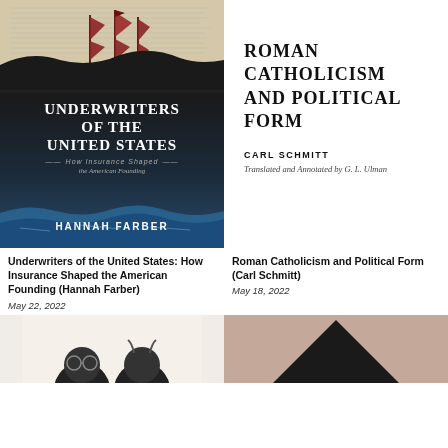[Figure (illustration): Book cover: Underwriters of the United States: How Insurance Shaped the American Founding by Hannah Farber. Dark cover with sailing ship at top, large white title text, italic subtitle, author name at bottom.]
[Figure (illustration): Book cover: Roman Catholicism and Political Form by Carl Schmitt, Translated and Annotated by G. L. Ulman. White cover with serif bold title text.]
Underwriters of the United States: How Insurance Shaped the American Founding (Hannah Farber)
May 22, 2022
Roman Catholicism and Political Form (Carl Schmitt)
May 18, 2022
[Figure (illustration): Partial book cover showing illustrated faces/heads at bottom of page (left column).]
[Figure (illustration): Partial book cover showing a black triangle on beige/tan background (right column).]